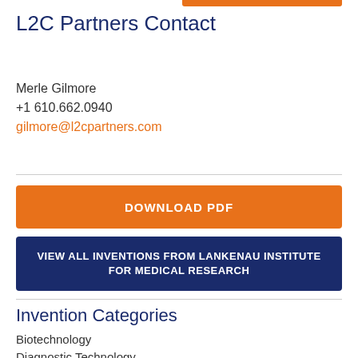L2C Partners Contact
Merle Gilmore
+1 610.662.0940
gilmore@l2cpartners.com
DOWNLOAD PDF
VIEW ALL INVENTIONS FROM LANKENAU INSTITUTE FOR MEDICAL RESEARCH
Invention Categories
Biotechnology
Diagnostic Technology